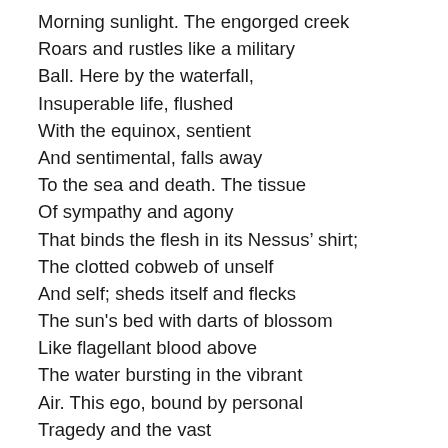Morning sunlight. The engorged creek
Roars and rustles like a military
Ball. Here by the waterfall,
Insuperable life, flushed
With the equinox, sentient
And sentimental, falls away
To the sea and death. The tissue
Of sympathy and agony
That binds the flesh in its Nessus’ shirt;
The clotted cobweb of unself
And self; sheds itself and flecks
The sun's bed with darts of blossom
Like flagellant blood above
The water bursting in the vibrant
Air. This ego, bound by personal
Tragedy and the vast